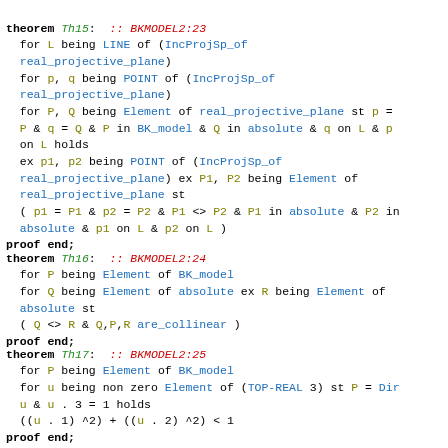theorem Th15: :: BKMODEL2:23
 for L being LINE of (IncProjSp_of real_projective_plane)
 for p, q being POINT of (IncProjSp_of real_projective_plane)
 for P, Q being Element of real_projective_plane st p = P & q = Q & P in BK_model & Q in absolute & q on L & p on L holds
 ex p1, p2 being POINT of (IncProjSp_of real_projective_plane) ex P1, P2 being Element of real_projective_plane st
 ( p1 = P1 & p2 = P2 & P1 <> P2 & P1 in absolute & P2 in absolute & p1 on L & p2 on L )
proof end;
theorem Th16: :: BKMODEL2:24
 for P being Element of BK_model
 for Q being Element of absolute ex R being Element of absolute st
 ( Q <> R & Q,P,R are_collinear )
proof end;
theorem Th17: :: BKMODEL2:25
 for P being Element of BK_model
 for u being non zero Element of (TOP-REAL 3) st P = Dir u & u . 3 = 1 holds
 ((u . 1) ^2) + ((u . 2) ^2) < 1
proof end;